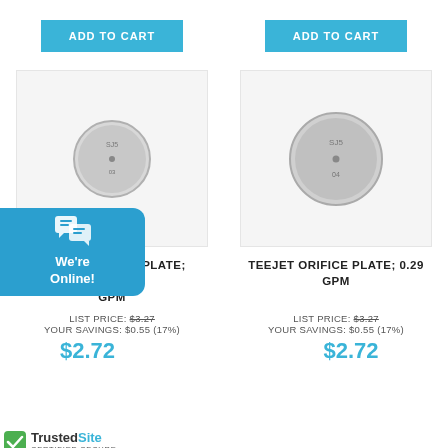ADD TO CART
ADD TO CART
[Figure (photo): TeeJet orifice plate small metal disc, left product]
[Figure (photo): TeeJet orifice plate small metal disc, right product]
TEEJET ORIFICE PLATE; 0.234 GPM
TEEJET ORIFICE PLATE; 0.29 GPM
LIST PRICE: $3.27
YOUR SAVINGS: $0.55 (17%)
LIST PRICE: $3.27
YOUR SAVINGS: $0.55 (17%)
$2.72
$2.72
We're Online!
[Figure (logo): TrustedSite Certified Secure badge with green checkmark]